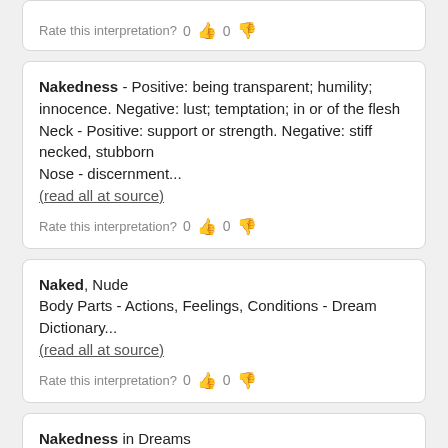Rate this interpretation? 0 👍 0 👎
Nakedness - Positive: being transparent; humility; innocence. Negative: lust; temptation; in or of the flesh
Neck - Positive: support or strength. Negative: stiff necked, stubborn
Nose - discernment...
(read all at source)
Rate this interpretation? 0 👍 0 👎
Naked, Nude
Body Parts - Actions, Feelings, Conditions - Dream Dictionary...
(read all at source)
Rate this interpretation? 0 👍 0 👎
Nakedness in Dreams
Being naked in a dream could indicate feelings of emotional vulnerability or...